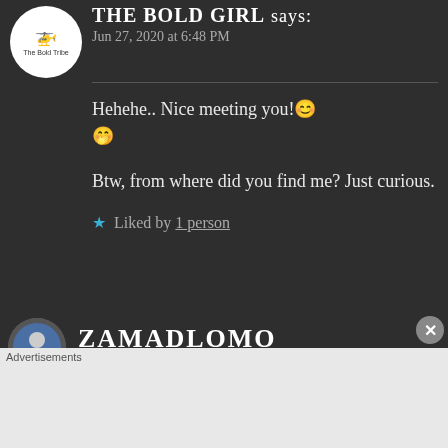THE BOLD GIRL says:
Jun 27, 2020 at 6:48 PM
Hehehe.. Nice meeting you!😊🤭
Btw, from where did you find me? Just curious.
★ Liked by 1 person
ZAMADLOMO
Advertisements
[Figure (screenshot): DuckDuckGo advertisement banner: orange background with text 'Search, browse, and email with more privacy. All in One Free App' and phone mockup showing DuckDuckGo logo]